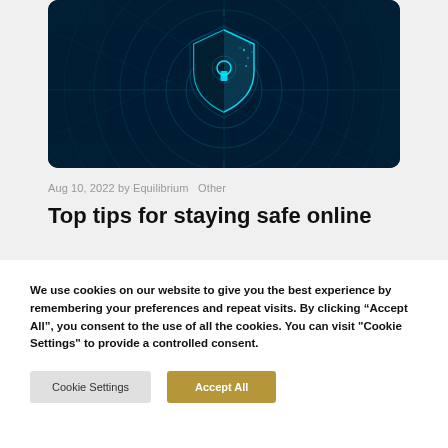[Figure (illustration): Cybersecurity illustration: a glowing cyan shield with a keyhole on a dark blue radar/grid background]
Aug 10, 2022 by Equilibrium  Other
Top tips for staying safe online
We use cookies on our website to give you the best experience by remembering your preferences and repeat visits. By clicking “Accept All”, you consent to the use of all the cookies. You can visit "Cookie Settings" to provide a controlled consent.
Cookie Settings  Accept All